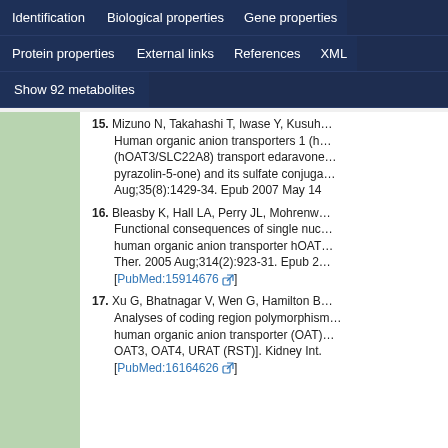Navigation tabs: Identification | Biological properties | Gene properties | Protein properties | External links | References | XML | Show 92 metabolites
[Figure (screenshot): Green sidebar panel on the left side of the content area]
15. Mizuno N, Takahashi T, Iwase Y, Kusuhara H, Niwa T, Sugiyama Y. Human organic anion transporters 1 (hOAT1/SLC22A6) and 3 (hOAT3/SLC22A8) transport edaravone (MCI-186; 3-methyl-1-phenyl-2-pyrazolin-5-one) and its sulfate conjugate. Drug Metab Dispos. 2007 Aug;35(8):1429-34. Epub 2007 May 14.
16. Bleasby K, Hall LA, Perry JL, Mohrenweiser HW, Pritchard JB. Functional consequences of single nucleotide polymorphisms in the human organic anion transporter hOAT1 (SLC22A6). J Pharmacol Exp Ther. 2005 Aug;314(2):923-31. Epub 2005 ... [PubMed:15914676]
17. Xu G, Bhatnagar V, Wen G, Hamilton BA, Eraly SA, Bhatt DL, Bhatt DL. Analyses of coding region polymorphisms in apical and basolateral human organic anion transporter (OAT) genes [OAT1 (NKT), OAT2, OAT3, OAT4, URAT (RST)]. Kidney Int. 2005 ... [PubMed:16164626]